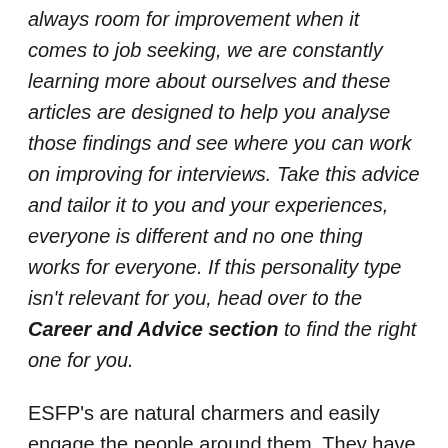always room for improvement when it comes to job seeking, we are constantly learning more about ourselves and these articles are designed to help you analyse those findings and see where you can work on improving for interviews. Take this advice and tailor it to you and your experiences, everyone is different and no one thing works for everyone. If this personality type isn't relevant for you, head over to the Career and Advice section to find the right one for you.
ESFP's are natural charmers and easily engage the people around them. They have a high energy and are generally fun-loving people. They tend to be talkative and have this as a strength when it comes to interviews. This personality doesn't tend to get as nervous as other people (not to say it doesn't